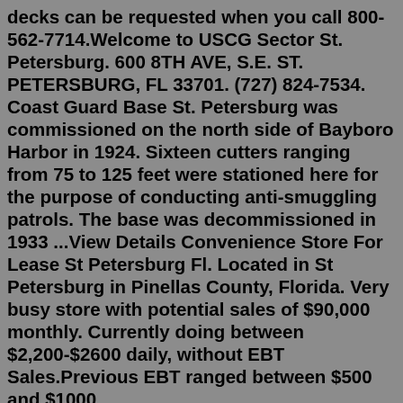decks can be requested when you call 800-562-7714.Welcome to USCG Sector St. Petersburg. 600 8TH AVE, S.E. ST. PETERSBURG, FL 33701. (727) 824-7534. Coast Guard Base St. Petersburg was commissioned on the north side of Bayboro Harbor in 1924. Sixteen cutters ranging from 75 to 125 feet were stationed here for the purpose of conducting anti-smuggling patrols. The base was decommissioned in 1933 ...View Details Convenience Store For Lease St Petersburg Fl. Located in St Petersburg in Pinellas County, Florida. Very busy store with potential sales of $90,000 monthly. Currently doing between $2,200-$2600 daily, without EBT Sales.Previous EBT ranged between $500 and $1000 daily.krishpillay@comcast.netFlorida Express Realty(813)892-2946 ...Specialties: Our Thrift Store in St. Pete offers collectibles, art, small furniture, clothing for the whole family, decorations, accessories, shoes, books toys and more. Established in 2011. The Pet Pal Thrift Store in St. Pete. was started by Pet Pal Animal Shelter. The store also helps the local community...